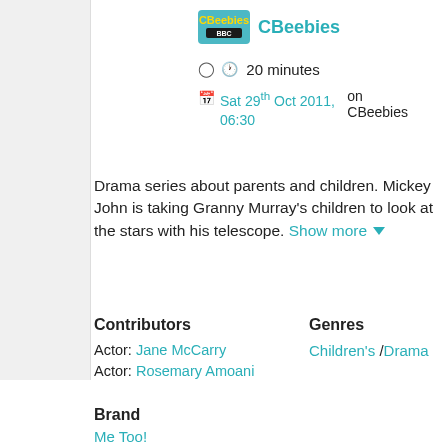[Figure (logo): CBeebies BBC logo]
CBeebies
20 minutes
Sat 29th Oct 2011, 06:30 on CBeebies
Drama series about parents and children. Mickey John is taking Granny Murray's children to look at the stars with his telescope. Show more ▼
Contributors
Genres
Actor: Jane McCarry
Actor: Rosemary Amoani
Children's /Drama
Brand
Me Too!
Series